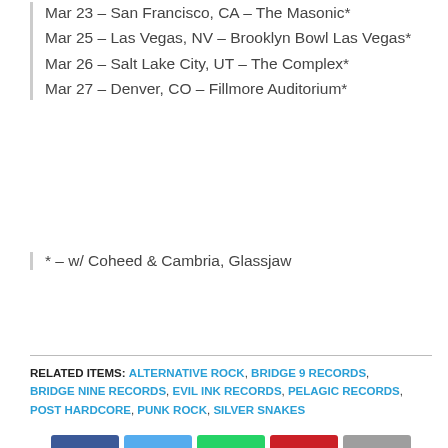Mar 23 – San Francisco, CA – The Masonic*
Mar 25 – Las Vegas, NV – Brooklyn Bowl Las Vegas*
Mar 26 – Salt Lake City, UT – The Complex*
Mar 27 – Denver, CO – Fillmore Auditorium*
* – w/ Coheed & Cambria, Glassjaw
RELATED ITEMS: ALTERNATIVE ROCK, BRIDGE 9 RECORDS, BRIDGE NINE RECORDS, EVIL INK RECORDS, PELAGIC RECORDS, POST HARDCORE, PUNK ROCK, SILVER SNAKES
[Figure (infographic): Social sharing buttons: Facebook, Twitter, WhatsApp, Pinterest, Email]
RECOMMENDED FOR YOU
ANTI-FLAG share "Fight Of Our Lives", feat. Rise Against's Tim McIlrath and Bad Religion's Brian Baker